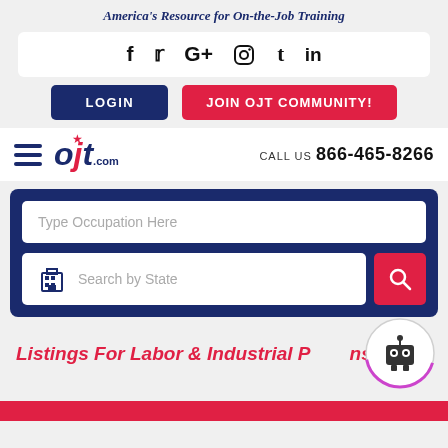America's Resource for On-the-Job Training
[Figure (screenshot): Social media icons row: Facebook (f), Twitter (bird), Google+ (G+), Instagram (camera), Tumblr (t), LinkedIn (in)]
LOGIN | JOIN OJT COMMUNITY!
[Figure (logo): ojt.com logo with red star above j, beside hamburger menu icon. CALL US 866-465-8266]
[Figure (screenshot): Search box with 'Type Occupation Here' text field and 'Search by State' row with building icon and red search button]
Listings For Labor & Industrial Positions